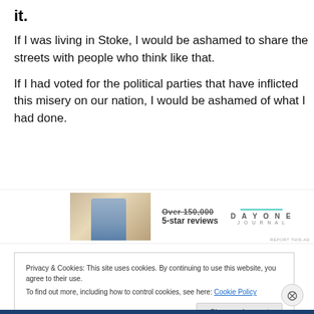it.
If I was living in Stoke, I would be ashamed to share the streets with people who think like that.
If I had voted for the political parties that have inflicted this misery on our nation, I would be ashamed of what I had done.
[Figure (other): Advertisement banner showing a person from behind, text 'Over 150,000 5-star reviews' and Day One Journal logo]
Privacy & Cookies: This site uses cookies. By continuing to use this website, you agree to their use.
To find out more, including how to control cookies, see here: Cookie Policy
Close and accept